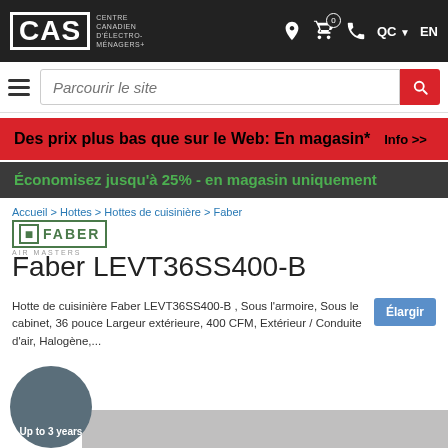CAS Centre Canadien D'Électro-Ménagers+ | QC | EN | Cart: 0
Parcourir le site
Des prix plus bas que sur le Web: En magasin* Info >>
Économisez jusqu'à 25% - en magasin uniquement
Accueil > Hottes > Hottes de cuisinière > Faber
[Figure (logo): Faber brand logo with green border box and text FABER]
Faber LEVT36SS400-B
Hotte de cuisinière Faber LEVT36SS400-B , Sous l'armoire, Sous le cabinet, 36 pouce Largeur extérieure, 400 CFM, Extérieur / Conduite d'air, Halogène,...
Élargir
Up to 3 years